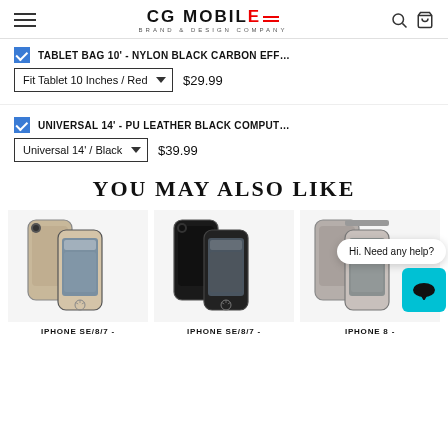CG MOBILE BRAND & DESIGN COMPANY
TABLET BAG 10' - NYLON BLACK CARBON EFF...
Fit Tablet 10 Inches / Red  $29.99
UNIVERSAL 14' - PU LEATHER BLACK COMPUT...
Universal 14' / Black  $39.99
YOU MAY ALSO LIKE
[Figure (photo): Beige/tan iPhone SE/8/7 case by Mercedes-Benz showing front and back views]
IPHONE SE/8/7 -
[Figure (photo): Black iPhone SE/8/7 case by Mercedes-Benz showing front and back views]
IPHONE SE/8/7 -
[Figure (photo): Gray/taupe iPhone 8 case by Mercedes-Benz partially visible]
IPHONE 8 -
Hi. Need any help?